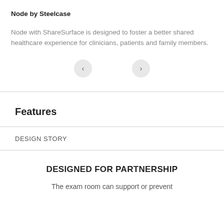Node by Steelcase
Node with ShareSurface is designed to foster a better shared healthcare experience for clinicians, patients and family members.
[Figure (other): Navigation buttons: left arrow and right arrow in circular grey buttons]
Features
DESIGN STORY
DESIGNED FOR PARTNERSHIP
The exam room can support or prevent